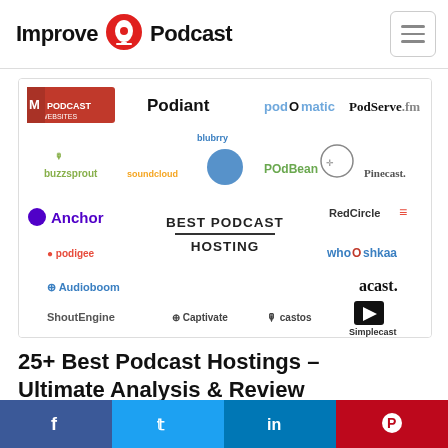Improve Podcast
[Figure (infographic): Collage of podcast hosting platform logos including Podcast Websites, Podiant, Podomatic, PodServe.fm, Buzzsprout, SoundCloud, Blubrry, PodBean, Frankisto, Pinecast, Anchor, RedCircle, Podigee, BEST PODCAST HOSTING (center text), whooshkaa, Audioboom, Acast, ShoutEngine, Captivate, Castos, Simplecast, Spreaker, Podcast Blastoff, FeedPress, PodcastGIANT, Fireside]
25+ Best Podcast Hostings – Ultimate Analysis & Review